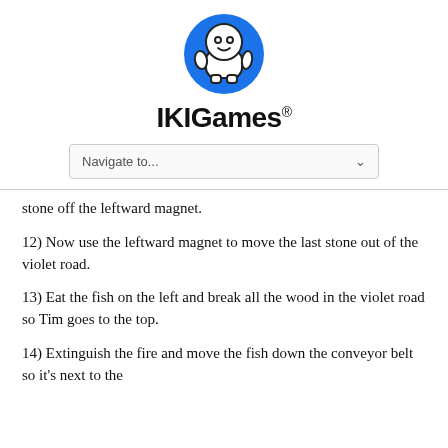[Figure (logo): IKIGames logo: a round blue circle with a white cartoon robot/character inside, smiling, with round eyes and small arms]
IKIGames®
[Figure (screenshot): Navigate to... dropdown selector with chevron arrow]
stone off the leftward magnet.
12) Now use the leftward magnet to move the last stone out of the violet road.
13) Eat the fish on the left and break all the wood in the violet road so Tim goes to the top.
14) Extinguish the fire and move the fish down the conveyor belt so it's next to the